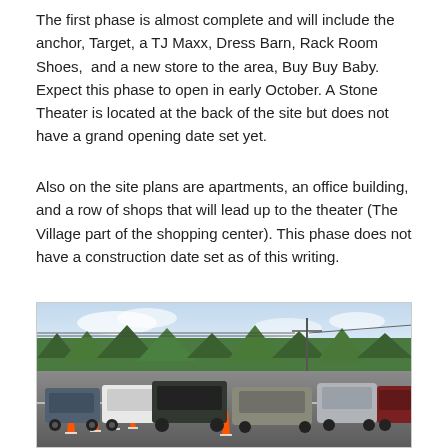The first phase is almost complete and will include the anchor, Target, a TJ Maxx, Dress Barn, Rack Room Shoes,  and a new store to the area, Buy Buy Baby. Expect this phase to open in early October. A Stone Theater is located at the back of the site but does not have a grand opening date set yet.
Also on the site plans are apartments, an office building, and a row of shops that will lead up to the theater (The Village part of the shopping center). This phase does not have a construction date set as of this writing.
[Figure (photo): A line of cars stopped in traffic on a road with orange traffic cones, trees in the background, overcast sky.]